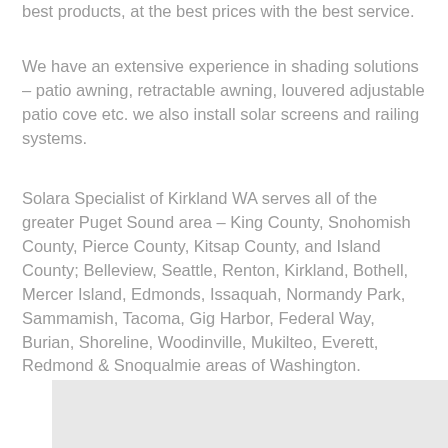best products, at the best prices with the best service.
We have an extensive experience in shading solutions – patio awning, retractable awning, louvered adjustable patio cove etc. we also install solar screens and railing systems.
Solara Specialist of Kirkland WA serves all of the greater Puget Sound area – King County, Snohomish County, Pierce County, Kitsap County, and Island County; Belleview, Seattle, Renton, Kirkland, Bothell, Mercer Island, Edmonds, Issaquah, Normandy Park, Sammamish, Tacoma, Gig Harbor, Federal Way, Burian, Shoreline, Woodinville, Mukilteo, Everett, Redmond & Snoqualmie areas of Washington.